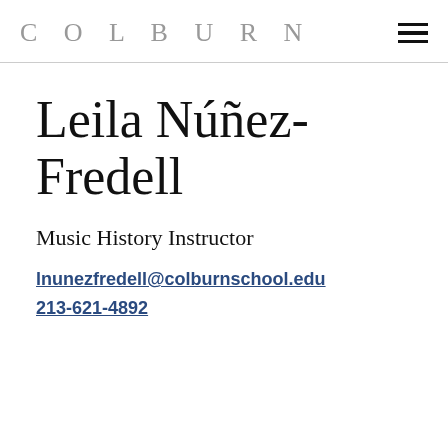COLBURN
Leila Núñez-Fredell
Music History Instructor
lnunezfredell@colburnschool.edu
213-621-4892